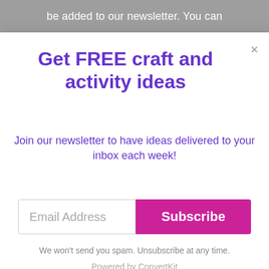be added to our newsletter. You can
Get FREE craft and activity ideas
Join our newsletter to have ideas delivered to your inbox each week!
Email Address
Subscribe
We won't send you spam. Unsubscribe at any time.
Powered by ConvertKit
|  |  |
| --- | --- |
| Size | 50.5 KB |
| Length | 3 pages |
44175 Ashbrook Marketplace Pla...
TO TOP
In-store shopping